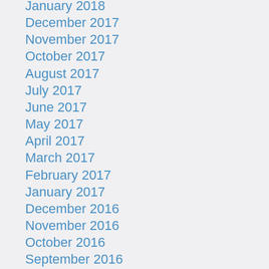January 2018
December 2017
November 2017
October 2017
August 2017
July 2017
June 2017
May 2017
April 2017
March 2017
February 2017
January 2017
December 2016
November 2016
October 2016
September 2016
August 2016
July 2016
June 2016